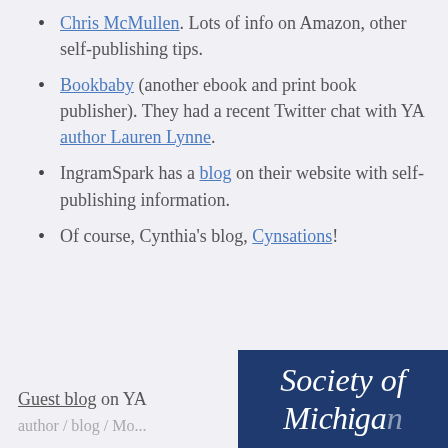Chris McMullen. Lots of info on Amazon, other self-publishing tips.
Bookbaby (another ebook and print book publisher). They had a recent Twitter chat with YA author Lauren Lynne.
IngramSpark has a blog on their website with self-publishing information.
Of course, Cynthia's blog, Cynsations!
Guest blog on YA
[Figure (logo): Society of Michigan/children's literature logo on dark navy background]